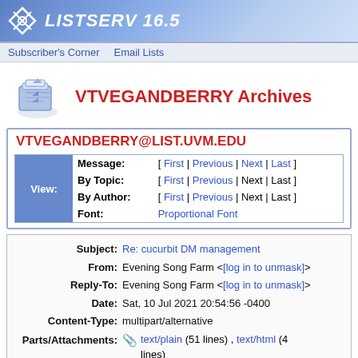LISTSERV 16.5
Subscriber's Corner   Email Lists
VTVEGANDBERRY Archives
VTVEGANDBERRY@LIST.UVM.EDU
| View: | Field | Navigation |
| --- | --- | --- |
|  | Message: | [ First | Previous | Next | Last ] |
|  | By Topic: | [ First | Previous | Next | Last ] |
|  | By Author: | [ First | Previous | Next | Last ] |
|  | Font: | Proportional Font |
| Field | Value |
| --- | --- |
| Subject: | Re: cucurbit DM management |
| From: | Evening Song Farm <[log in to unmask]> |
| Reply-To: | Evening Song Farm <[log in to unmask]> |
| Date: | Sat, 10 Jul 2021 20:54:56 -0400 |
| Content-Type: | multipart/alternative |
| Parts/Attachments: | text/plain (51 lines) , text/html (4 lines) |